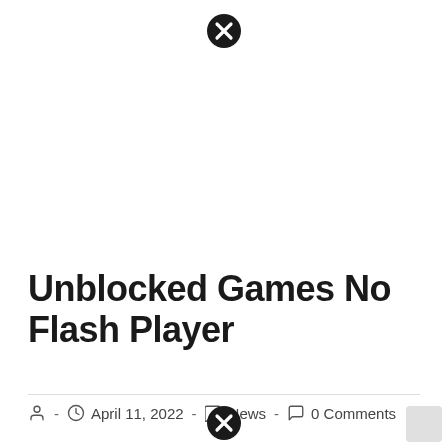[Figure (other): Close/cancel button icon (circle with X) at top center]
Unblocked Games No Flash Player
April 11, 2022 - News - 0 Comments
[Figure (other): Close/cancel button icon (circle with X) at bottom center]